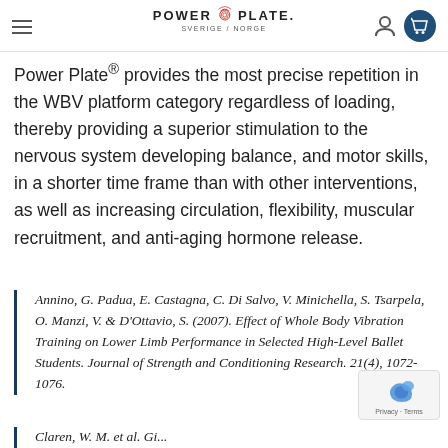POWER PLATE. SVERIGE / NORGE
Power Plate® provides the most precise repetition in the WBV platform category regardless of loading, thereby providing a superior stimulation to the nervous system developing balance, and motor skills, in a shorter time frame than with other interventions, as well as increasing circulation, flexibility, muscular recruitment, and anti-aging hormone release.
Annino, G. Padua, E. Castagna, C. Di Salvo, V. Minichella, S. Tsarpela, O. Manzi, V. & D'Ottavio, S. (2007). Effect of Whole Body Vibration Training on Lower Limb Performance in Selected High-Level Ballet Students. Journal of Strength and Conditioning Research. 21(4), 1072-1076.
Claren, W. M. et al. Cited from: Blom, Kolum...